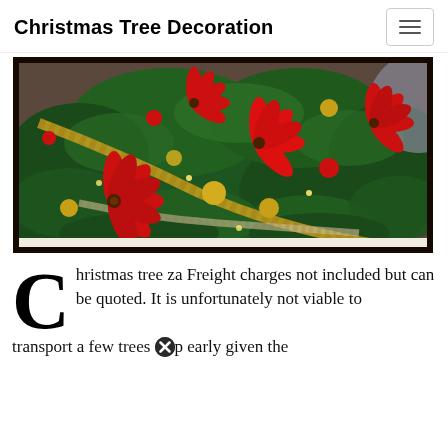Christmas Tree Decoration
[Figure (photo): Close-up photo of a decorated Christmas tree or wreath with red poinsettia flowers, gold and red ornament balls, green pine branches, and patterned ribbon, set in a dark brown/black frame.]
Christmas tree za Freight charges not included but can be quoted. It is unfortunately not viable to transport a few trees up early given the